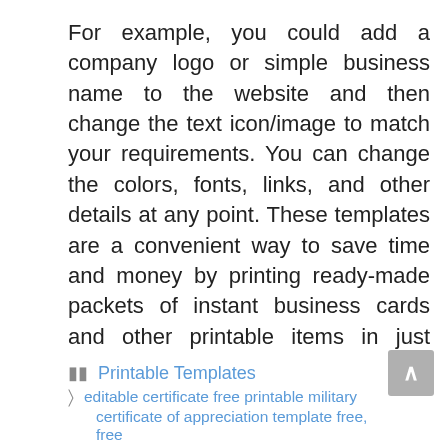For example, you could add a company logo or simple business name to the website and then change the text icon/image to match your requirements. You can change the colors, fonts, links, and other details at any point. These templates are a convenient way to save time and money by printing ready-made packets of instant business cards and other printable items in just minutes. These printable templates are a great way to save time, money, and stress while promoting your products and services.
Printable Templates | editable certificate free printable military certificate of appreciation template free, free